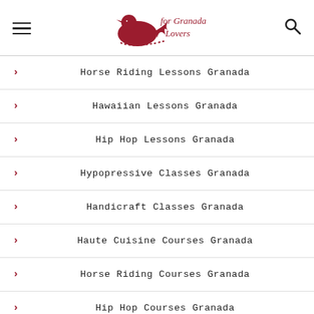for Granada Lovers
Horse Riding Lessons Granada
Hawaiian Lessons Granada
Hip Hop Lessons Granada
Hypopressive Classes Granada
Handicraft Classes Granada
Haute Cuisine Courses Granada
Horse Riding Courses Granada
Hip Hop Courses Granada